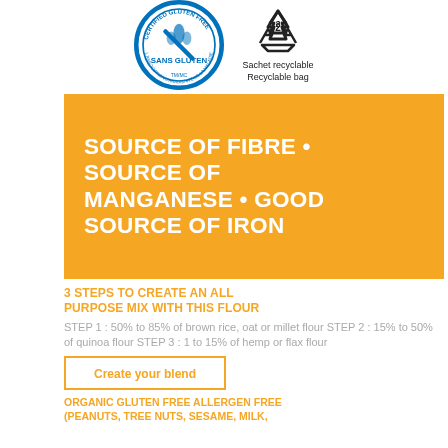[Figure (logo): Gluten-free certification logo (blue circular badge with crossed wheat stalk, text: SANS GLUTEN, L'ASSOCIATION CANADIENNE DE LA MALADIE COELIAQUE, TM/MC)]
[Figure (logo): Recycling symbol with '2' inside, and text: Sachet recyclable / Recyclable bag]
Sachet recyclable
Recyclable bag
SOURCE OF FIBRE • SOURCE OF MANGANESE • GOOD SOURCE OF IRON
3 STEPS TO CREATE AN ALL PURPOSE MIX WITH THIS FLOUR
STEP 1 : 50% to 85% of brown rice, oat or millet flour STEP 2 : 15% to 50% of quinoa flour STEP 3 : 1 to 15% of hemp or flax flour
Create your blend
ORGANIC GLUTEN FREE ALLERGEN FREE (PEANUTS, TREE NUTS, SESAME, MILK,